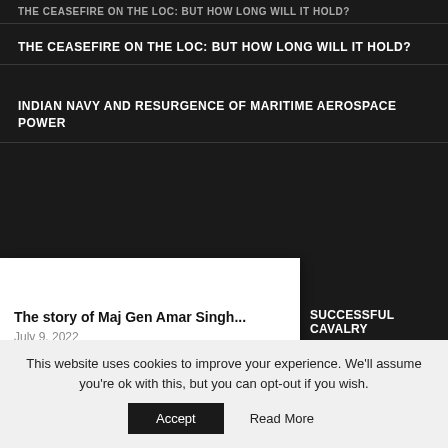THE CEASEFIRE ON THE LOC: BUT HOW LONG WILL IT HOLD?
THE CEASEFIRE ON THE LOC: BUT HOW LONG WILL IT HOLD?
INDIAN NAVY AND RESURGENCE OF MARITIME AEROSPACE POWER
READ ALSO
The story of Maj Gen Amar Singh...
July 9, 2022
[Figure (photo): Mountain landscape thumbnail for Daulat Beg Oldie article]
DAULAT BEG OLDIE : WHOSE PERFIDY IS...
August 1, 2014
[Figure (photo): Book cover thumbnail for Major Jaswant article]
MAJOR JASWANT
SUCCESSFUL CAVALRY
r India
This website uses cookies to improve your experience. We'll assume you're ok with this, but you can opt-out if you wish.
Accept
Read More